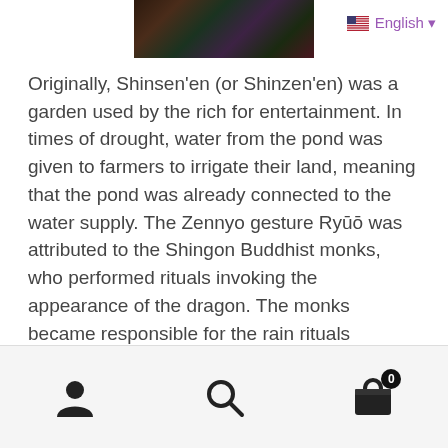[Figure (photo): Dark moody photo of foliage/garden at top center of page]
English ▾
Originally, Shinsen'en (or Shinzen'en) was a garden used by the rich for entertainment. In times of drought, water from the pond was given to farmers to irrigate their land, meaning that the pond was already connected to the water supply. The Zennyo gesture Ryūō was attributed to the Shingon Buddhist monks, who performed rituals invoking the appearance of the dragon. The monks became responsible for the rain rituals necessary to persuade or compel Zennyo Ryūō to provide rain. The observations of these monks showed that Zennyo Ryūō was a golden dragon with a snake on its head.
User icon, Search icon, Cart icon with badge 0